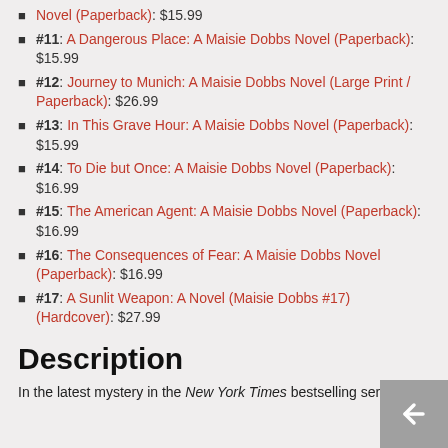Novel (Paperback): $15.99
#11: A Dangerous Place: A Maisie Dobbs Novel (Paperback): $15.99
#12: Journey to Munich: A Maisie Dobbs Novel (Large Print / Paperback): $26.99
#13: In This Grave Hour: A Maisie Dobbs Novel (Paperback): $15.99
#14: To Die but Once: A Maisie Dobbs Novel (Paperback): $16.99
#15: The American Agent: A Maisie Dobbs Novel (Paperback): $16.99
#16: The Consequences of Fear: A Maisie Dobbs Novel (Paperback): $16.99
#17: A Sunlit Weapon: A Novel (Maisie Dobbs #17) (Hardcover): $27.99
Description
In the latest mystery in the New York Times bestselling series,